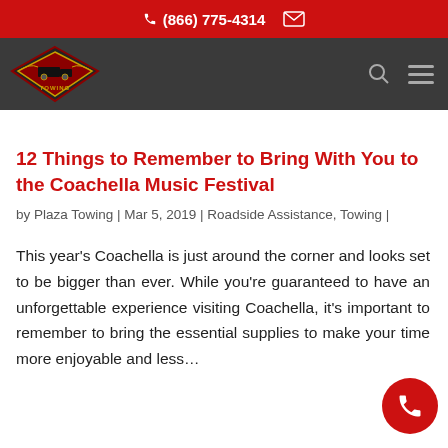(866) 775-4314
[Figure (logo): Plaza Towing logo — diamond-shaped badge with truck graphic, red and gold colors on dark background]
12 Things to Remember to Bring With You to the Coachella Music Festival
by Plaza Towing | Mar 5, 2019 | Roadside Assistance, Towing |
This year's Coachella is just around the corner and looks set to be bigger than ever. While you're guaranteed to have an unforgettable experience visiting Coachella, it's important to remember to bring the essential supplies to make your time more enjoyable and less...